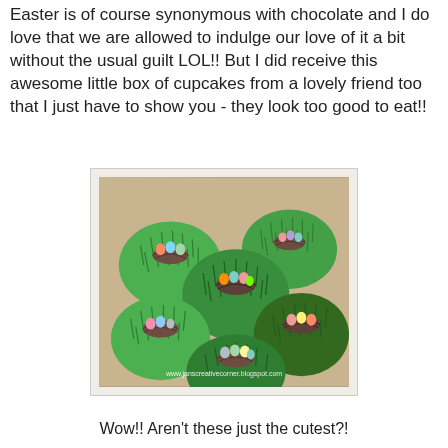Easter is of course synonymous with chocolate and I do love that we are allowed to indulge our love of it a bit without the usual guilt LOL!! But I did receive this awesome little box of cupcakes from a lovely friend too that I just have to show you - they look too good to eat!!
[Figure (photo): A box of Easter cupcakes decorated with green grass-like frosting and chocolate nests containing colorful candy eggs. Watermark: www.janscreativecorner.blogspot.com]
Wow!! Aren't these just the cutest?!